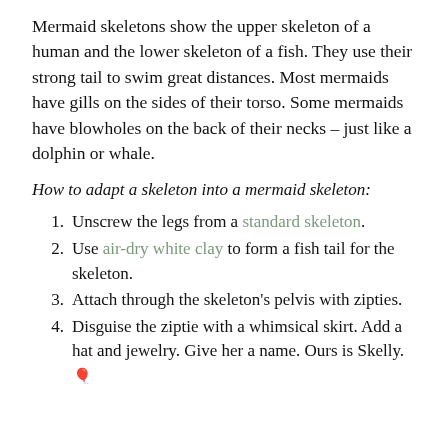Mermaid skeletons show the upper skeleton of a human and the lower skeleton of a fish. They use their strong tail to swim great distances. Most mermaids have gills on the sides of their torso. Some mermaids have blowholes on the back of their necks – just like a dolphin or whale.
How to adapt a skeleton into a mermaid skeleton:
Unscrew the legs from a standard skeleton.
Use air-dry white clay to form a fish tail for the skeleton.
Attach through the skeleton's pelvis with zipties.
Disguise the ziptie with a whimsical skirt. Add a hat and jewelry. Give her a name. Ours is Skelly.